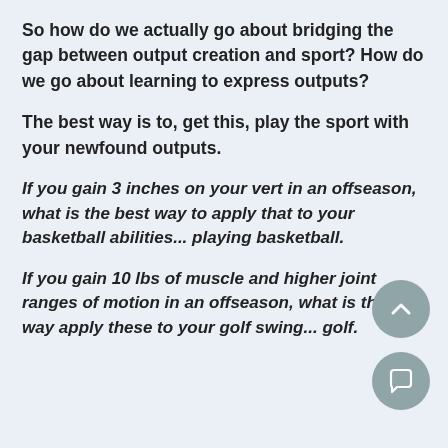So how do we actually go about bridging the gap between output creation and sport? How do we go about learning to express outputs?
The best way is to, get this, play the sport with your newfound outputs.
If you gain 3 inches on your vert in an offseason, what is the best way to apply that to your basketball abilities... playing basketball.
If you gain 10 lbs of muscle and higher joint ranges of motion in an offseason, what is the best way apply these to your golf swing... golf.